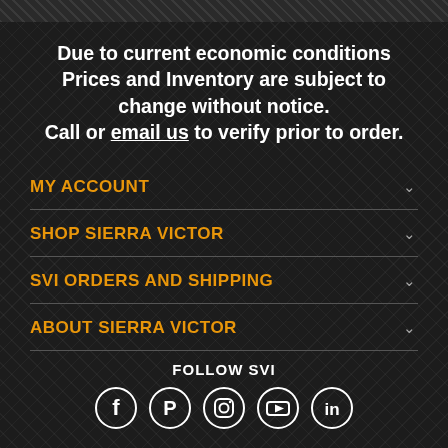Due to current economic conditions Prices and Inventory are subject to change without notice. Call or email us to verify prior to order.
MY ACCOUNT
SHOP SIERRA VICTOR
SVI ORDERS AND SHIPPING
ABOUT SIERRA VICTOR
FOLLOW SVI
[Figure (infographic): Social media icons for Facebook, Pinterest, Instagram, YouTube, and LinkedIn, each in a white circle outline on dark background.]